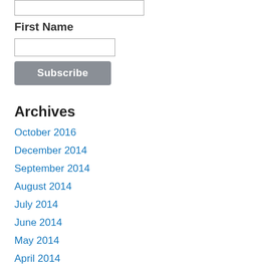[input box at top]
First Name
[First Name input box]
Subscribe
Archives
October 2016
December 2014
September 2014
August 2014
July 2014
June 2014
May 2014
April 2014
March 2014
April 2013
January 2013
Categories
All